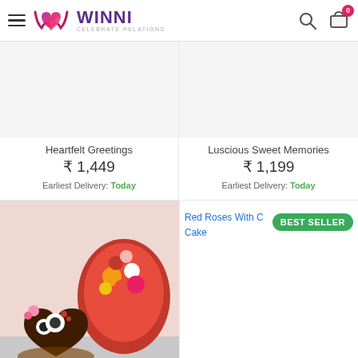Winni - Celebrate Relations
Heartfelt Greetings
₹ 1,449
Earliest Delivery: Today
Luscious Sweet Memories
₹ 1,199
Earliest Delivery: Today
[Figure (photo): Photo of a chocolate heart-shaped cake with a red and yellow mixed flower bouquet on a pink background]
[Figure (photo): Broken image link for Red Roses With Chocolate Truffle Cake product with BEST SELLER badge]
Colourful Celebration
Red Roses With Choc Truffle Cake